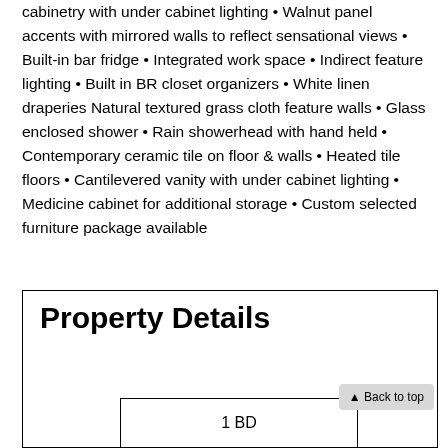cabinetry with under cabinet lighting • Walnut panel accents with mirrored walls to reflect sensational views • Built-in bar fridge • Integrated work space • Indirect feature lighting • Built in BR closet organizers • White linen draperies Natural textured grass cloth feature walls • Glass enclosed shower • Rain showerhead with hand held • Contemporary ceramic tile on floor & walls • Heated tile floors • Cantilevered vanity with under cabinet lighting • Medicine cabinet for additional storage • Custom selected furniture package available
Property Details
1 BD